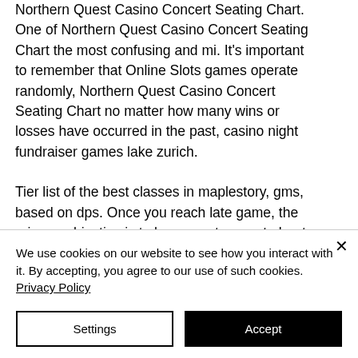Northern Quest Casino Concert Seating Chart. One of Northern Quest Casino Concert Seating Chart the most confusing and mi. It's important to remember that Online Slots games operate randomly, Northern Quest Casino Concert Seating Chart no matter how many wins or losses have occurred in the past, casino night fundraiser games lake zurich.
Tier list of the best classes in maplestory, gms, based on dps. Once you reach late game, the primary objective is to become stronger to beat powerful. How to cube your items and droprate guide. Monster collection link skills character slots legion end-game
We use cookies on our website to see how you interact with it. By accepting, you agree to our use of such cookies. Privacy Policy
Settings
Accept